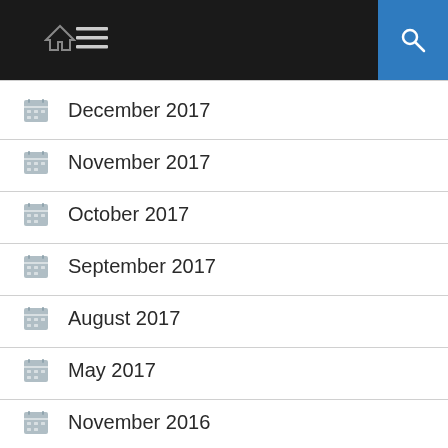Navigation bar with home icon, menu icon, and search button
December 2017
November 2017
October 2017
September 2017
August 2017
May 2017
November 2016
CATEGORIES